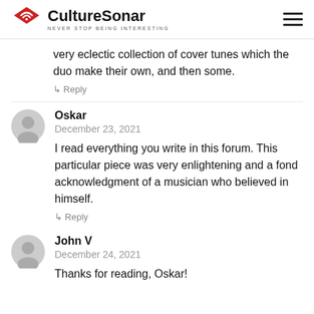CultureSonar — NEVER STOP BEING INTERESTING
very eclectic collection of cover tunes which the duo make their own, and then some.
↳ Reply
Oskar
December 23, 2021
I read everything you write in this forum. This particular piece was very enlightening and a fond acknowledgment of a musician who believed in himself.
↳ Reply
John V
December 24, 2021
Thanks for reading, Oskar!